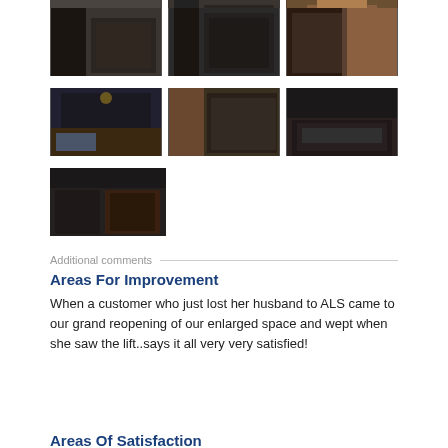[Figure (photo): Row of 3 interior store photos showing dark furnishings, display cases]
[Figure (photo): Row of 3 interior store photos showing dark walls, brick, and wood]
[Figure (photo): Row of 3 interior store photos showing display cases and interior details]
[Figure (photo): Single interior store photo showing shelving and dark interior]
Additional comments
Areas For Improvement
When a customer who just lost her husband to ALS came to our grand reopening of our enlarged space and wept when she saw the lift..says it all very very satisfied!
Areas Of Satisfaction